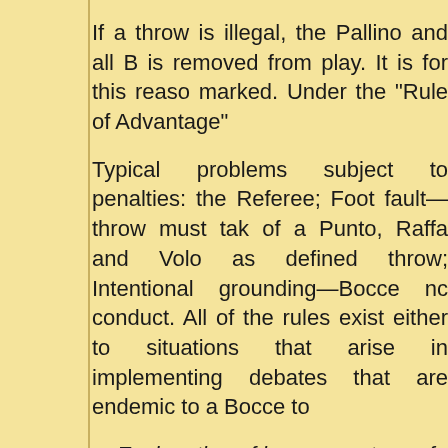If a throw is illegal, the Pallino and all B is removed from play. It is for this reaso marked. Under the "Rule of Advantage"
Typical problems subject to penalties: the Referee; Foot fault—throw must tak of a Punto, Raffa and Volo as define throw; Intentional grounding—Bocce nc conduct. All of the rules exist either to situations that arise in implementing debates that are endemic to a Bocce to
__Explanation of bocce courtesy of Boc * These rules are specific to the Activitie